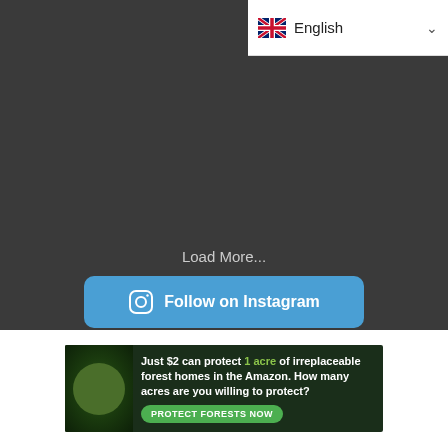[Figure (screenshot): Language selector dropdown showing UK flag and English text with chevron]
Load More...
[Figure (screenshot): Follow on Instagram button with Instagram camera icon, blue rounded rectangle]
[Figure (screenshot): Advertisement banner: Just $2 can protect 1 acre of irreplaceable forest homes in the Amazon. How many acres are you willing to protect? PROTECT FORESTS NOW - with sloth image on green forest background]